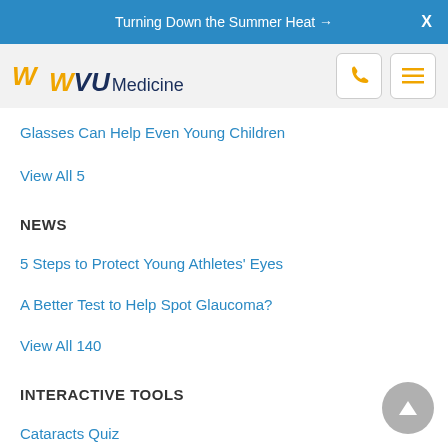Turning Down the Summer Heat →
[Figure (logo): WVU Medicine logo with phone and menu icons]
Glasses Can Help Even Young Children
View All 5
NEWS
5 Steps to Protect Young Athletes' Eyes
A Better Test to Help Spot Glaucoma?
View All 140
INTERACTIVE TOOLS
Cataracts Quiz
Erectile Dysfunction Quiz
View All 5